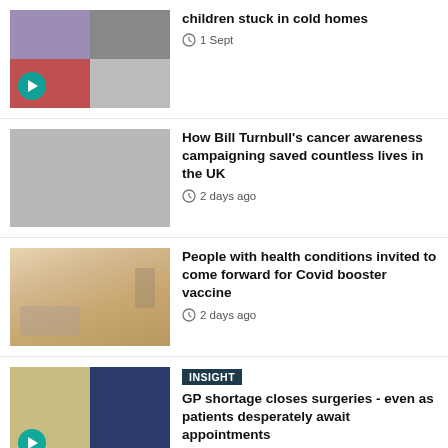[Figure (photo): News thumbnail - children stuck in cold homes, grid of 4 photos with play button]
children stuck in cold homes
1 Sept
[Figure (photo): Gray placeholder thumbnail]
How Bill Turnbull's cancer awareness campaigning saved countless lives in the UK
2 days ago
[Figure (photo): Vaccine injection photo]
People with health conditions invited to come forward for Covid booster vaccine
2 days ago
[Figure (photo): GP surgery photo with play button]
INSIGHT
GP shortage closes surgeries - even as patients desperately await appointments
3 days ago
[Figure (photo): Gray placeholder thumbnail]
EXPLAINER
Cost of living: What is a warm bank and